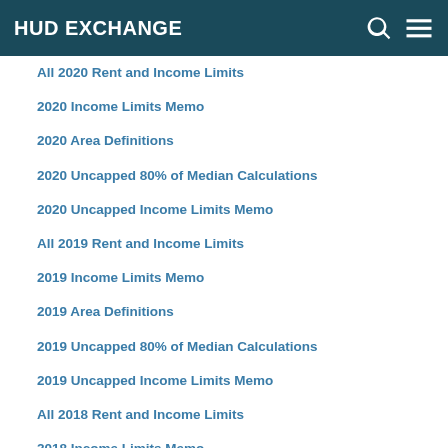HUD EXCHANGE
All 2020 Rent and Income Limits
2020 Income Limits Memo
2020 Area Definitions
2020 Uncapped 80% of Median Calculations
2020 Uncapped Income Limits Memo
All 2019 Rent and Income Limits
2019 Income Limits Memo
2019 Area Definitions
2019 Uncapped 80% of Median Calculations
2019 Uncapped Income Limits Memo
All 2018 Rent and Income Limits
2018 Income Limits Memo
2018 Area Definitions